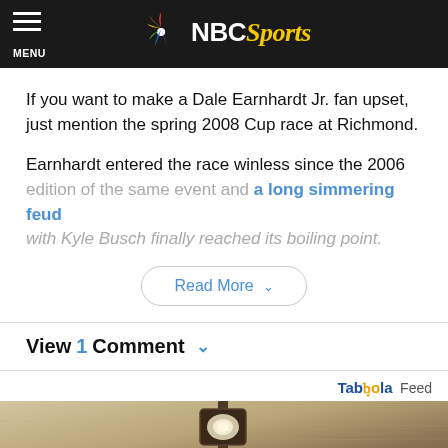NBC Sports
If you want to make a Dale Earnhardt Jr. fan upset, just mention the spring 2008 Cup race at Richmond.
Earnhardt entered the race winless since the 2006 edition of the same event and a long simmering feud with Kyle Busch finally reached its boiling point.
Read More
View 1 Comment
Taboola Feed
[Figure (photo): Advertisement image showing a rustic wall lamp or lantern mounted on a textured stone/stucco wall]